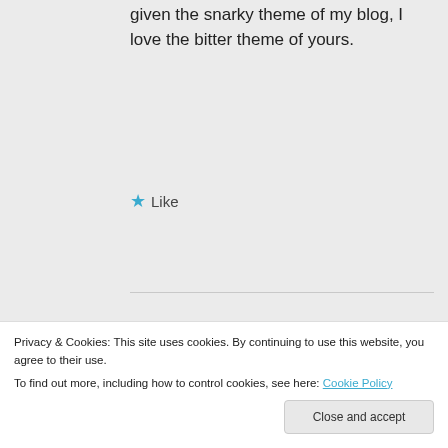given the snarky theme of my blog, I love the bitter theme of yours.
★ Like
bensbitterblog on July 26, 2017 at 10:23 am
Yeah, yours is snarky for sure, but I would also
Privacy & Cookies: This site uses cookies. By continuing to use this website, you agree to their use.
To find out more, including how to control cookies, see here: Cookie Policy
Close and accept